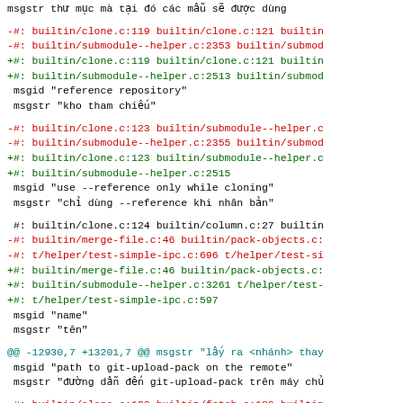msgstr  thư mục mà tại đó các mẫu sẽ được dùng
-#: builtin/clone.c:119 builtin/clone.c:121 builtin/
-#: builtin/submodule--helper.c:2353 builtin/submod
+#: builtin/clone.c:119 builtin/clone.c:121 builtin/
+#: builtin/submodule--helper.c:2513 builtin/submod
 msgid "reference repository"
 msgstr "kho tham chiếu"
-#: builtin/clone.c:123 builtin/submodule--helper.c
-#: builtin/submodule--helper.c:2355 builtin/submod
+#: builtin/clone.c:123 builtin/submodule--helper.c
+#: builtin/submodule--helper.c:2515
 msgid "use --reference only while cloning"
 msgstr "chỉ dùng --reference khi nhân bản"
#: builtin/clone.c:124 builtin/column.c:27 builtin
-#: builtin/merge-file.c:46 builtin/pack-objects.c:
-#: t/helper/test-simple-ipc.c:696 t/helper/test-si
+#: builtin/merge-file.c:46 builtin/pack-objects.c:
+#: builtin/submodule--helper.c:3261 t/helper/test-
+#: t/helper/test-simple-ipc.c:597
 msgid "name"
 msgstr "tên"
@@ -12930,7 +13201,7 @@ msgstr "lấy ra <nhánh> thay
 msgid "path to git-upload-pack on the remote"
 msgstr "đường dẫn đến git-upload-pack trên máy chủ
-#: builtin/clone.c:130 builtin/fetch.c:180 builtin